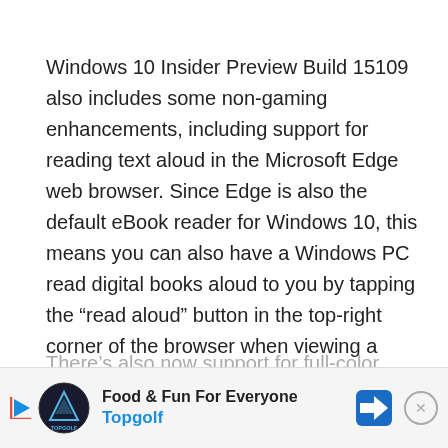Windows 10 Insider Preview Build 15109 also includes some non-gaming enhancements, including support for reading text aloud in the Microsoft Edge web browser. Since Edge is also the default eBook reader for Windows 10, this means you can also have a Windows PC read digital books aloud to you by tapping the “read aloud” button in the top-right corner of the browser when viewing a book.
There’s also now support for full-color emoji in Micro... en
[Figure (infographic): Topgolf advertisement banner reading 'Food & Fun For Everyone' with Topgolf logo, play button, navigation icon, and close button]